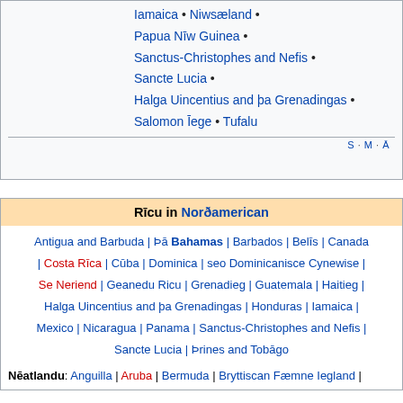Iamaica • Niwsæland •
Papua Nīw Guinea •
Sanctus-Christophes and Nefis •
Sancte Lucia •
Halga Uincentius and þa Grenadingas •
Salomon Īege • Tufalu
S · M · Ā
Rīcu in Norðamerican
Antigua and Barbuda | Þā Bahamas | Barbados | Belīs | Canada | Costa Rīca | Cūba | Dominica | seo Dominicanisce Cynewise | Se Neriend | Geanedu Ricu | Grenadieg | Guatemala | Haitieg | Halga Uincentius and þa Grenadingas | Honduras | Iamaica | Mexico | Nicaragua | Panama | Sanctus-Christophes and Nefis | Sancte Lucia | Þrines and Tobāgo
Nēatlandu: Anguilla | Aruba | Bermuda | Bryttiscan Fæmne Iegland |